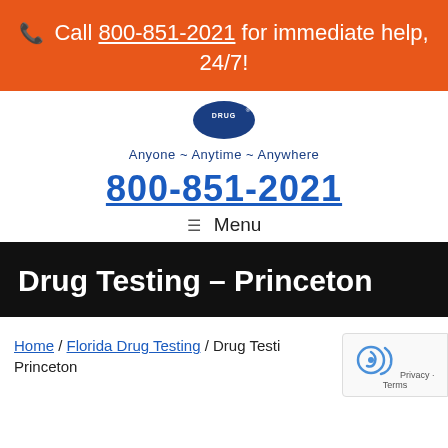📞 Call 800-851-2021 for immediate help, 24/7!
[Figure (logo): Circular logo with 'DRUG' text and registered trademark symbol]
Anyone ~ Anytime ~ Anywhere
800-851-2021
≡ Menu
Drug Testing – Princeton
Home / Florida Drug Testing / Drug Testing – Princeton